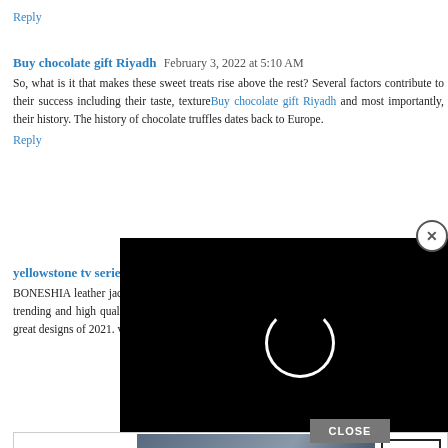Reply
Buy chocolate gift Riyadh  February 3, 2022 at 5:10 AM
So, what is it that makes these sweet treats rise above the rest? Several factors contribute to their success including their taste, textureBuy chocolate gift Riyadh and most importantly, their history. The history of chocolate truffles dates back to Europe.
Reply
yellowstone tv series merchandise  February 4, 2022 at 2:23 AM
BONESHIA leather jacket is best leatehr jacket designs 2022 . we make things which are in trending and high quality. weyellowstone tv series merchandise create nothing but new and great designs of 2021. visit to our website to get the best services.
Reply
[Figure (screenshot): Black video player overlay with loading spinner circle and X close button]
[Figure (screenshot): Bloomingdales advertisement banner: View Today's Top Deals! SHOP NOW >]